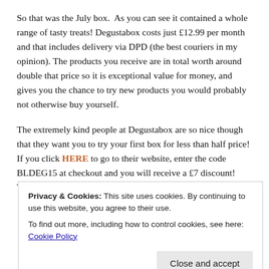So that was the July box.  As you can see it contained a whole range of tasty treats! Degustabox costs just £12.99 per month and that includes delivery via DPD (the best couriers in my opinion). The products you receive are in total worth around double that price so it is exceptional value for money, and gives you the chance to try new products you would probably not otherwise buy yourself.
The extremely kind people at Degustabox are so nice though that they want you to try your first box for less than half price! If you click HERE to go to their website, enter the code BLDEG15 at checkout and you will receive a £7 discount! That makes your first
Privacy & Cookies: This site uses cookies. By continuing to use this website, you agree to their use.
To find out more, including how to control cookies, see here: Cookie Policy
Close and accept